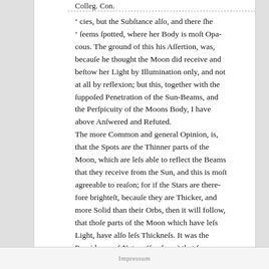Colleg. Con.
' cies, but the Substance also, and there she ' seems spotted, where her Body is most Opacous. The ground of this his Assertion, was, because he thought the Moon did receive and bestow her Light by Illumination only, and not at all by reflexion; but this, together with the supposed Penetration of the Sun-Beams, and the Perspicuity of the Moons Body, I have above Answered and Refuted. The more Common and general Opinion, is, that the Spots are the Thinner parts of the Moon, which are less able to reflect the Beams that they receive from the Sun, and this is most agreeable to reason; for if the Stars are therefore brightest, because they are Thicker, and more Solid than their Orbs, then it will follow, that those parts of the Moon which have less Light, have also less Thickness. It was the Providence of Nature (say some) that so contrived that Planet to have these Spots within it; for since that is nearest to those lower
Impressum